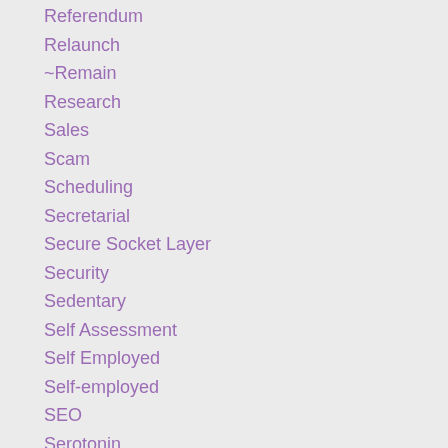Referendum
Relaunch
~Remain
Research
Sales
Scam
Scheduling
Secretarial
Secure Socket Layer
Security
Sedentary
Self Assessment
Self Employed
Self-employed
SEO
Serotonin
Service
Sitting
Slack
Small Business